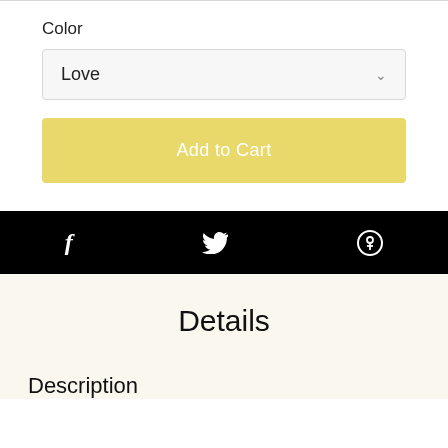Color
Love
Add to Cart
[Figure (infographic): Social sharing bar with Facebook (f), Twitter (bird), and Pinterest (P) icons on black background]
Details
Description